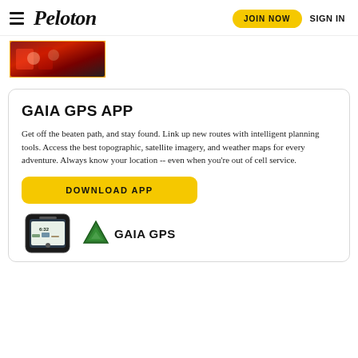Peloton — JOIN NOW   SIGN IN
[Figure (photo): Thumbnail image showing people in red sports jerseys]
GAIA GPS APP
Get off the beaten path, and stay found. Link up new routes with intelligent planning tools. Access the best topographic, satellite imagery, and weather maps for every adventure. Always know your location -- even when you’re out of cell service.
DOWNLOAD APP
[Figure (screenshot): Phone mockup showing Gaia GPS app screen alongside the Gaia GPS logo with green mountain triangle icon and GAIA GPS text]